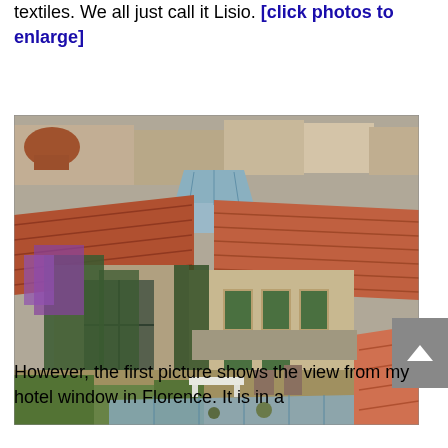textiles. We all just call it Lisio. [click photos to enlarge]
[Figure (photo): Aerial view from a hotel window in Florence showing rooftops with terracotta tiles, a courtyard garden with ivy-covered buildings, purple flowering plants, green shuttered windows, and a glass-roofed structure. A white bench is visible in the courtyard.]
However, the first picture shows the view from my hotel window in Florence. It is in a